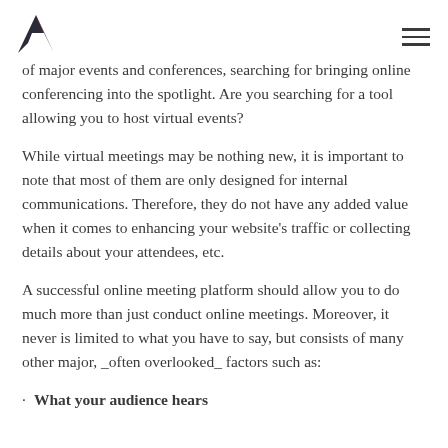[Logo: A] [Hamburger menu]
of major events and conferences, searching for bringing online conferencing into the spotlight. Are you searching for a tool allowing you to host virtual events?
While virtual meetings may be nothing new, it is important to note that most of them are only designed for internal communications. Therefore, they do not have any added value when it comes to enhancing your website's traffic or collecting details about your attendees, etc.
A successful online meeting platform should allow you to do much more than just conduct online meetings. Moreover, it never is limited to what you have to say, but consists of many other major, _often overlooked_ factors such as:
What your audience hears